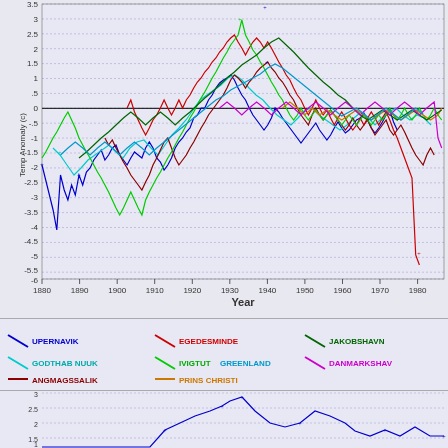[Figure (continuous-plot): Time series of temperature anomalies (°C) for multiple Greenland weather stations from 1880 to ~1987. Multiple colored lines represent different stations: UPERNAVIK (blue), GODTHAS NUUK (cyan), ANGMAGSSALIK (dark red/brown), EGEDESMINDE (red), IVIGTUT (green), PRINS CHRISTI (orange), JAKOBSHAVN (dark green), DANMARKSHAVN (magenta), GREENLAND (light blue). Y-axis ranges from -6 to 3.5. A horizontal black line marks 0 anomaly. X-axis shows years from 1880 to 1980s.]
[Figure (continuous-plot): Bottom partial chart showing temperature anomaly time series, y-axis from approximately 1 to 3, partial view cut off.]